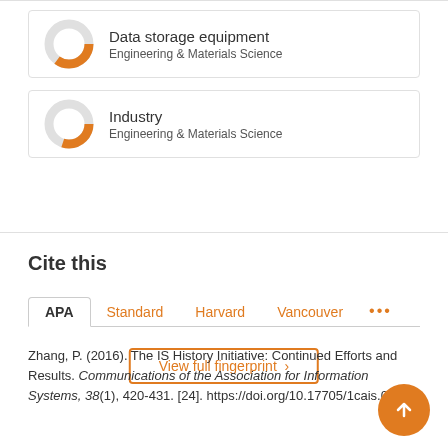[Figure (donut-chart): Donut chart showing partial fill in orange for 'Data storage equipment', Engineering & Materials Science]
Data storage equipment
Engineering & Materials Science
[Figure (donut-chart): Donut chart showing partial fill in orange for 'Industry', Engineering & Materials Science]
Industry
Engineering & Materials Science
View full fingerprint >
Cite this
APA  Standard  Harvard  Vancouver  ...
Zhang, P. (2016). The IS History Initiative: Continued Efforts and Results. Communications of the Association for Information Systems, 38(1), 420-431. [24]. https://doi.org/10.17705/1cais.03824